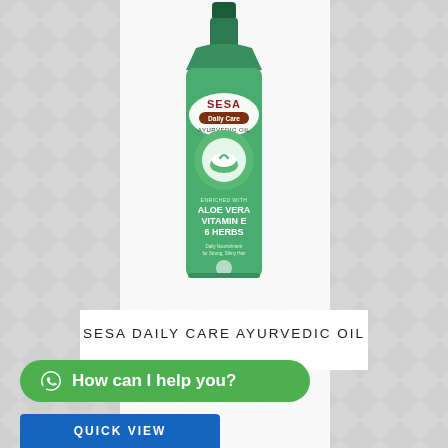[Figure (photo): Sesa Daily Care Ayurvedic Oil bottle - a tall green transparent bottle with dark green cap, labeled with SESA brand name, Daily Care Ayurvedic Oil, enriched with Aloe Vera, Vitamin E, 6 Herbs. Features mortar and pestle graphic with herbs illustration.]
SESA DAILY CARE AYURVEDIC OIL
How can I help you?
QUICK VIEW